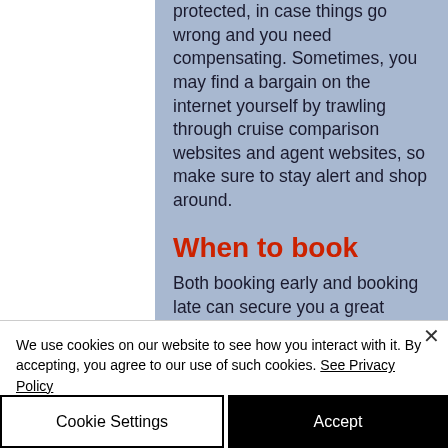protected, in case things go wrong and you need compensating. Sometimes, you may find a bargain on the internet yourself by trawling through cruise comparison websites and agent websites, so make sure to stay alert and shop around.
When to book
Both booking early and booking late can secure you a great cruise deal, it depends on when you are sailing,
We use cookies on our website to see how you interact with it. By accepting, you agree to our use of such cookies. See Privacy Policy
Cookie Settings
Accept